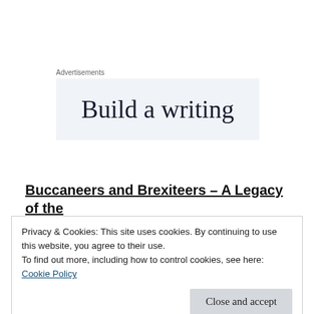Advertisements
[Figure (other): Advertisement banner with text 'Build a writing' on light blue-grey background]
Buccaneers and Brexiteers – A Legacy of the British Empire?
Privacy & Cookies: This site uses cookies. By continuing to use this website, you agree to their use.
To find out more, including how to control cookies, see here: Cookie Policy
Close and accept
Quote: German Chamber of Commerce on Brexit